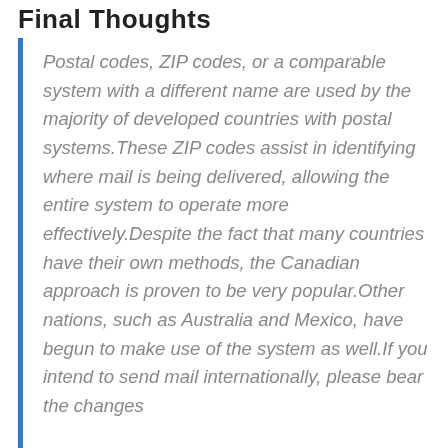Final Thoughts
Postal codes, ZIP codes, or a comparable system with a different name are used by the majority of developed countries with postal systems.These ZIP codes assist in identifying where mail is being delivered, allowing the entire system to operate more effectively.Despite the fact that many countries have their own methods, the Canadian approach is proven to be very popular.Other nations, such as Australia and Mexico, have begun to make use of the system as well.If you intend to send mail internationally, please bear the changes